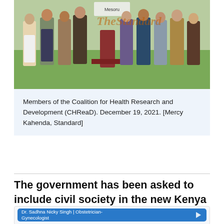[Figure (photo): Group photo of members of the Coalition for Health Research and Development (CHReaD) standing outdoors on grass, with a podium in the center bearing a sign. The Standard newspaper watermark is visible.]
Members of the Coalition for Health Research and Development (CHReaD). December 19, 2021. [Mercy Kahenda, Standard]
The government has been asked to include civil society in the new Kenya Biovax Institute Board in a bid to revamp Covid-19 vaccines.
[Figure (screenshot): Advertisement box featuring Dr. Sadhna Nicky Singh | Obstetrician-Gynecologist]